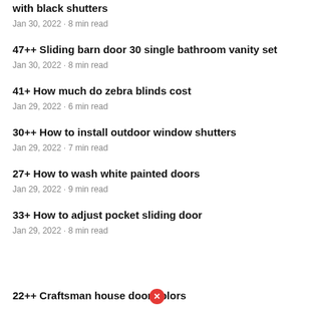42+ What color door goes with a white house with black shutters
Jan 30, 2022 · 8 min read
47++ Sliding barn door 30 single bathroom vanity set
Jan 30, 2022 · 8 min read
41+ How much do zebra blinds cost
Jan 29, 2022 · 6 min read
30++ How to install outdoor window shutters
Jan 29, 2022 · 7 min read
27+ How to wash white painted doors
Jan 29, 2022 · 9 min read
33+ How to adjust pocket sliding door
Jan 29, 2022 · 8 min read
22++ Craftsman house door colors